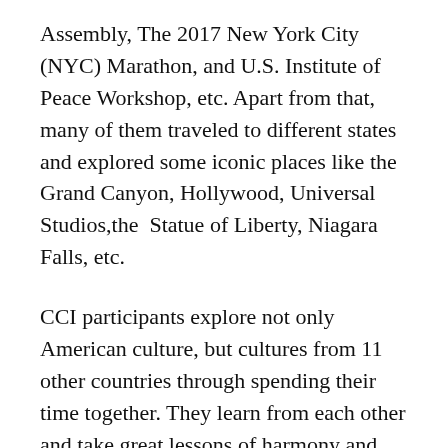Assembly, The 2017 New York City (NYC) Marathon, and U.S. Institute of Peace Workshop, etc. Apart from that, many of them traveled to different states and explored some iconic places like the Grand Canyon, Hollywood, Universal Studios,the  Statue of Liberty, Niagara Falls, etc.
CCI participants explore not only American culture, but cultures from 11 other countries through spending their time together. They learn from each other and take great lessons of harmony and collaboration between multicultural groups. Surely, the skills and knowledge that they obtained during their ten months in the U.S. is